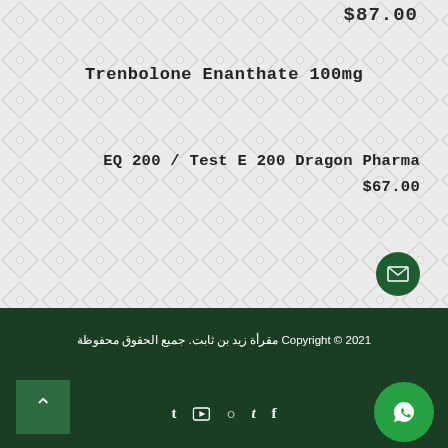$87.00
Trenbolone Enanthate 100mg
EQ 200 / Test E 200 Dragon Pharma
$67.00
Copyright © 2021 مقرأة زيد بن ثابت. جميع الحقوق محفوظة